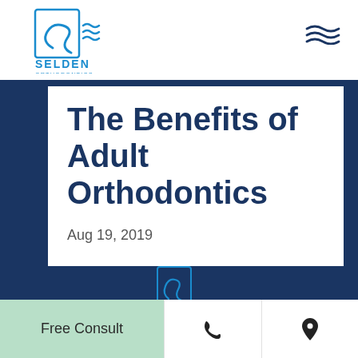[Figure (logo): Selden Orthodontics logo - stylized S in a rectangle with wavy lines, blue color, text reading SELDEN ORTHODONTICS]
The Benefits of Adult Orthodontics
Aug 19, 2019
[Figure (logo): Small Selden Orthodontics logo icon at bottom center]
Free Consult